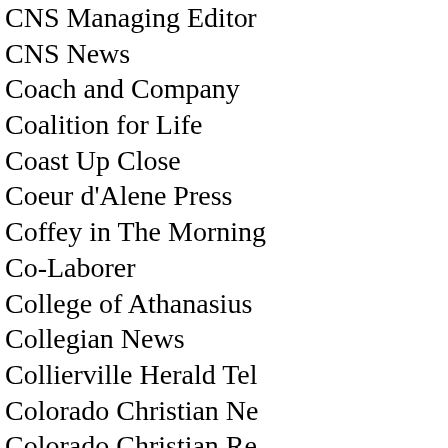CNS Managing Edit…
CNS News
Coach and Compan…
Coalition for Life
Coast Up Close
Coeur d'Alene Press…
Coffey in The Morni…
Co-Laborer
College of Athanasius…
Collegian News
Collierville Herald Te…
Colorado Christian N…
Colorado Christian R…
Columbia Daily Tribu…
Columbia U Pro-life
Columbian
Columbus Dispatch
Columbus Ledger
Columbus Ledger E…
Columbus Ohio Disp…
Commercial Appeal
Commercial Appeal…
Commissioned
Committee for Justic…
Committee on Moral…
Committee to Resto…
Commonweal
Community Awarene…
Community Focus
Community Highligh…